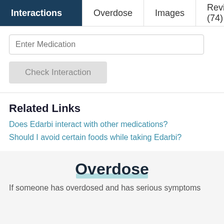Interactions | Overdose | Images | Reviews (74)
Enter Medication
Check Interaction
Related Links
Does Edarbi interact with other medications?
Should I avoid certain foods while taking Edarbi?
Overdose
If someone has overdosed and has serious symptoms